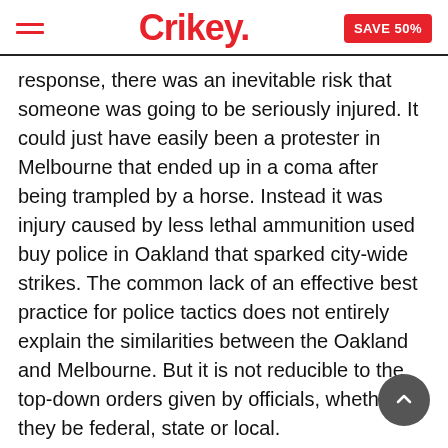Crikey. | SAVE 50%
response, there was an inevitable risk that someone was going to be seriously injured. It could just have easily been a protester in Melbourne that ended up in a coma after being trampled by a horse. Instead it was injury caused by less lethal ammunition used buy police in Oakland that sparked city-wide strikes. The common lack of an effective best practice for police tactics does not entirely explain the similarities between the Oakland and Melbourne. But it is not reducible to the top-down orders given by officials, whether they be federal, state or local.
Another partial explanation lies in the informal transfer of ideas and practices through various